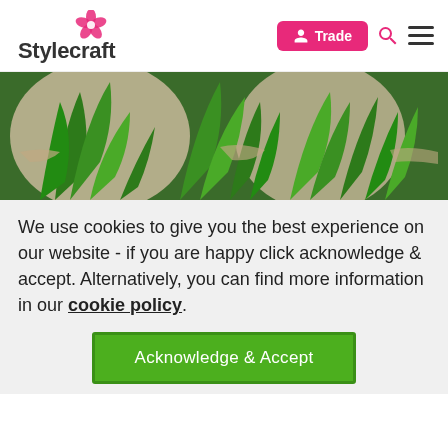[Figure (logo): Stylecraft logo with pink flower and wordmark]
[Figure (photo): Close-up photo of green tropical plant leaves with beige textured surface, circular crop motif across banner]
We use cookies to give you the best experience on our website - if you are happy click acknowledge & accept. Alternatively, you can find more information in our cookie policy.
Acknowledge & Accept